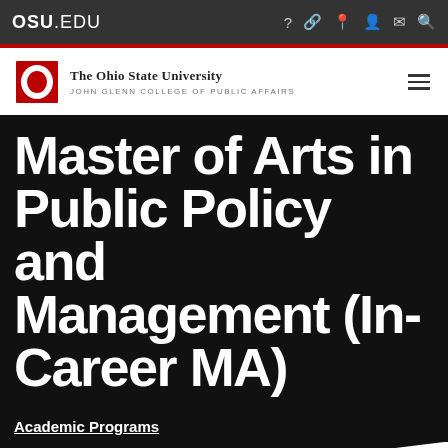OSU.EDU
[Figure (logo): The Ohio State University logo with red block O, university name 'The Ohio State University' and subtitle 'John Glenn College of Public Affairs']
Master of Arts in Public Policy and Management (In-Career MA)
Academic Programs